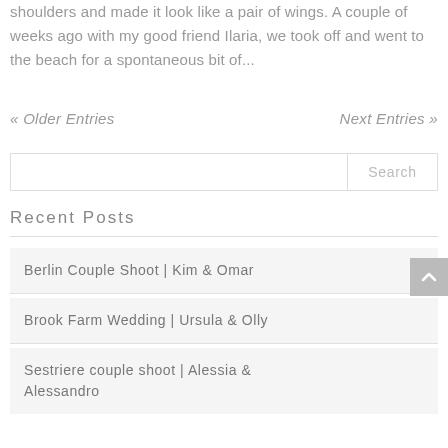shoulders and made it look like a pair of wings. A couple of weeks ago with my good friend Ilaria, we took off and went to the beach for a spontaneous bit of...
« Older Entries
Next Entries »
Recent Posts
Berlin Couple Shoot | Kim & Omar
Brook Farm Wedding | Ursula & Olly
Sestriere couple shoot | Alessia & Alessandro